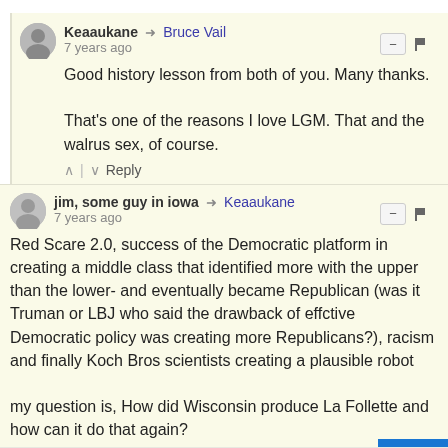Keaaukane → Bruce Vail
7 years ago
Good history lesson from both of you. Many thanks.

That's one of the reasons I love LGM. That and the walrus sex, of course.
jim, some guy in iowa → Keaaukane
7 years ago
Red Scare 2.0, success of the Democratic platform in creating a middle class that identified more with the upper than the lower- and eventually became Republican (was it Truman or LBJ who said the drawback of effctive Democratic policy was creating more Republicans?), racism and finally Koch Bros scientists creating a plausible robot

my question is, How did Wisconsin produce La Follette and how can it do that again?